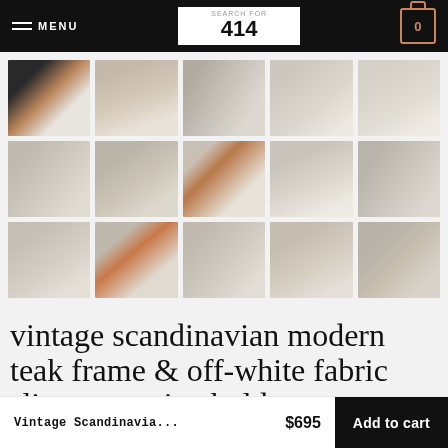MENU | 414 | 0
[Figure (photo): Grid of 15 product photos showing a vintage Scandinavian modern teak frame and off-white fabric sling magazine holder from various angles]
vintage scandinavian modern teak frame & off-white fabric sling magazine holder
Vintage Scandinavia... $695 Add to cart